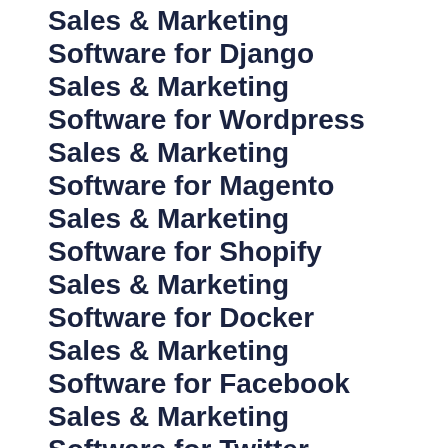Sales & Marketing Software for Django
Sales & Marketing Software for Wordpress
Sales & Marketing Software for Magento
Sales & Marketing Software for Shopify
Sales & Marketing Software for Docker
Sales & Marketing Software for Facebook
Sales & Marketing Software for Twitter
Sales & Marketing Software for FreeBSD
Sales & Marketing Software for